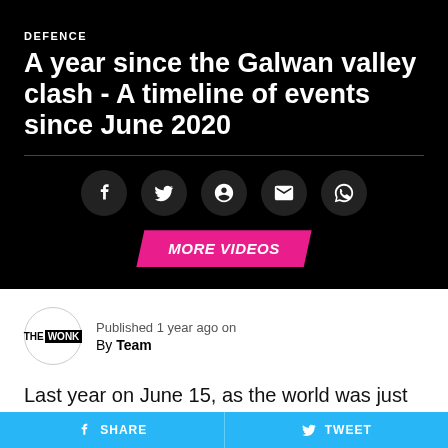DEFENCE
A year since the Galwan valley clash - A timeline of events since June 2020
[Figure (infographic): Social media sharing icons: Facebook, Twitter, Pinterest, Email, Comment on dark background with MORE VIDEOS button]
Published 1 year ago on
By Team
Last year on June 15, as the world was just learning to deal with the first wave of the Covid pandemic, China and India were locked in a gruesome conflict around the